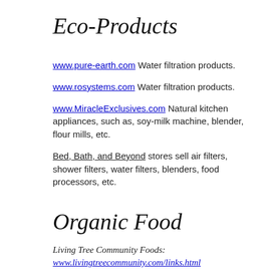Eco-Products
www.pure-earth.com Water filtration products.
www.rosystems.com Water filtration products.
www.MiracleExclusives.com Natural kitchen appliances, such as, soy-milk machine, blender, flour mills, etc.
Bed, Bath, and Beyond stores sell air filters, shower filters, water filters, blenders, food processors, etc.
Organic Food
Living Tree Community Foods: www.livingtreecommunity.com/links.html